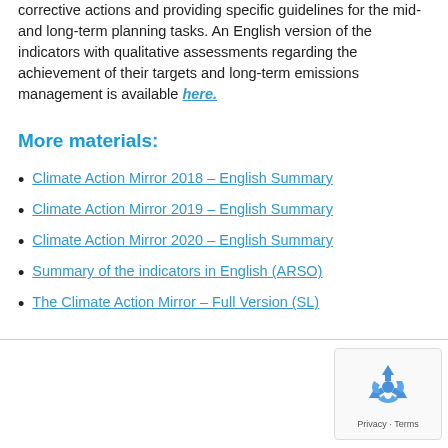corrective actions and providing specific guidelines for the mid- and long-term planning tasks. An English version of the indicators with qualitative assessments regarding the achievement of their targets and long-term emissions management is available here.
More materials:
Climate Action Mirror 2018 – English Summary
Climate Action Mirror 2019 – English Summary
Climate Action Mirror 2020 – English Summary
Summary of the indicators in English (ARSO)
The Climate Action Mirror – Full Version (SL)
[Figure (logo): Google reCAPTCHA badge with recycling-arrow logo icon and 'Privacy - Terms' text]